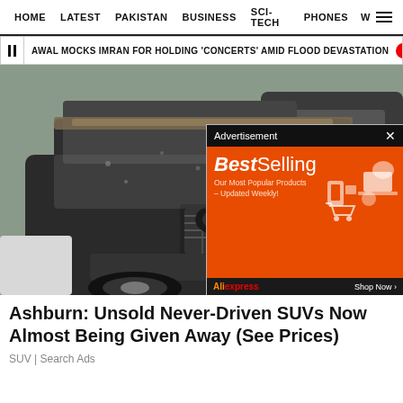HOME   LATEST   PAKISTAN   BUSINESS   SCI-TECH   PHONES   W
AWAL MOCKS IMRAN FOR HOLDING 'CONCERTS' AMID FLOOD DEVASTATION   SC R
[Figure (photo): Dirty/dusty black Range Rover SUV parked alongside another dark vehicle, photographed from the front-side angle showing the hood covered in mud/dust]
[Figure (advertisement): BestSelling advertisement from AliExpress showing orange background with product images including electronics and shopping cart. Text: Best Selling, Our Most Popular Products – Updated Weekly!, AliExpress, Shop Now]
Ashburn: Unsold Never-Driven SUVs Now Almost Being Given Away (See Prices)
SUV | Search Ads